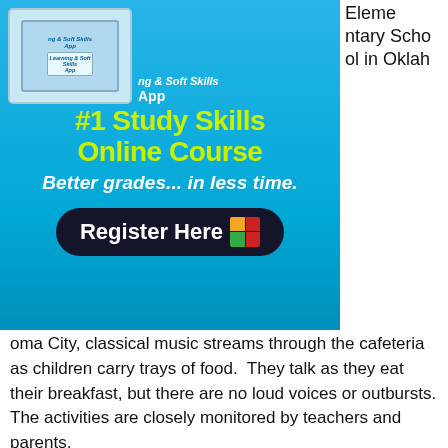[Figure (illustration): Advertisement banner for #1 Study Skills Online Course app. Shows a tablet device, bold yellow-green headline '#1 Study Skills Online Course', italic text 'Better grades... in less time.', and a dark rounded 'Register Here' button with a colorful icon.]
Elementary School in Oklahoma City, classical music streams through the cafeteria as children carry trays of food.  They talk as they eat their breakfast, but there are no loud voices or outbursts. The activities are closely monitored by teachers and parents.
The expectations are conveyed in a message that is delivered repeatedly. Do the Right Thing. At the Right Time. In the Right Place.
“We are directly and explicitly teaching them social expectations and behaviors,” said Principal Armando Ayala. “Little people need to get that